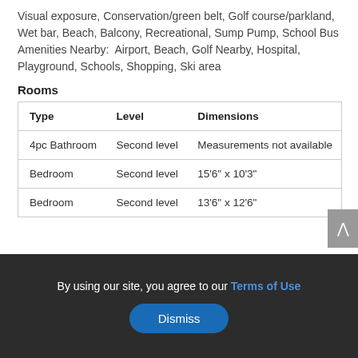Visual exposure, Conservation/green belt, Golf course/parkland, Wet bar, Beach, Balcony, Recreational, Sump Pump, School Bus
Amenities Nearby:  Airport, Beach, Golf Nearby, Hospital, Playground, Schools, Shopping, Ski area
Rooms
| Type | Level | Dimensions |
| --- | --- | --- |
| 4pc Bathroom | Second level | Measurements not available |
| Bedroom | Second level | 15'6" x 10'3" |
| Bedroom | Second level | 13'6" x 12'6" |
By using our site, you agree to our Terms of Use
Dismiss